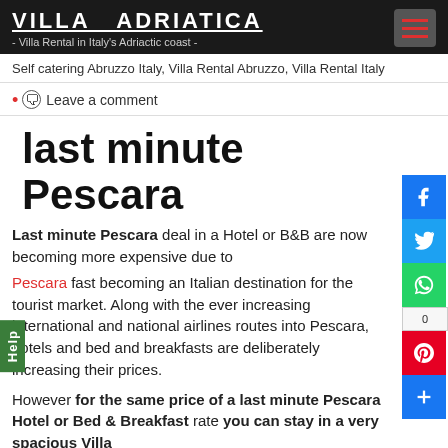VILLA ADRIATICA - Villa Rental in Italy's Adriactic coast -
Self catering Abruzzo Italy, Villa Rental Abruzzo, Villa Rental Italy
Leave a comment
last minute Pescara
Last minute Pescara deal in a Hotel or B&B are now becoming more expensive due to Pescara fast becoming an Italian destination for the tourist market. Along with the ever increasing international and national airlines routes into Pescara, hotels and bed and breakfasts are deliberately increasing their prices.
However for the same price of a last minute Pescara Hotel or Bed & Breakfast rate you can stay in a very spacious Villa
The villa is less than a 10 minute drive to Pescara's beaches, and Pescara's main shopping district, exciting nightlife and.